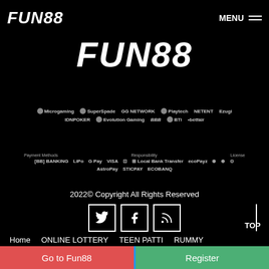[Figure (logo): FUN88 logo small in header top left]
MENU ☰
[Figure (logo): FUN88 large logo centered below header]
[Figure (infographic): Partner logos row: Microgaming, SuperSpade, GG Network, Playtech, NETENT, Ezugi, IDNPoker, Evolution Gaming, BBB, BTi, Betfair]
[Figure (infographic): Payment methods: BB Banking, LiPo, G Pay, VISA, Mastercard, Local Bank Transfer, ecoPayz, AstroPay, STICPAY, ECOBANQ. Responsibility and License logos.]
2022© Copyright All Rights Reserved
[Figure (infographic): Social media icons: Twitter, Facebook, RSS feed in white boxes]
TOP
Home   ONLINE LOTTERY   TEEN PATTI   RUMMY
BACCARAT   SLOTS   ONLINE BETTING   Sitemap
Go to Fun88
Register